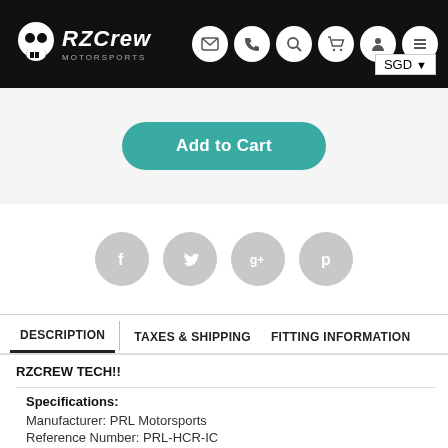RZCrew — header navigation bar with logo, icons (email, phone, search, cart, account, menu), and SGD currency selector
Add to Cart
[Figure (other): Social sharing icons: Facebook, Twitter, Google+, Pinterest — grey circles]
DESCRIPTION | TAXES & SHIPPING | FITTING INFORMATION
RZCREW TECH!!
Specifications:
Manufacturer: PRL Motorsports
Reference Number: PRL-HCR-IC